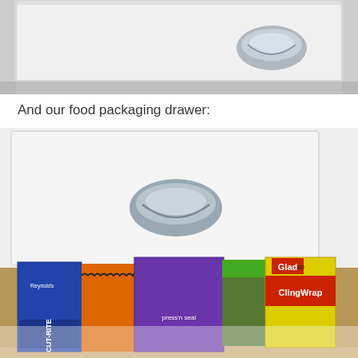[Figure (photo): Top portion of a white kitchen drawer with a silver cup-pull handle, showing the drawer front and a glimpse of the floor below.]
And our food packaging drawer:
[Figure (photo): An open kitchen drawer containing food packaging boxes including Cut-Rite wax paper, a purple box (Glad press-n-seal), and Glad ClingWrap, arranged side by side in the wooden drawer interior.]